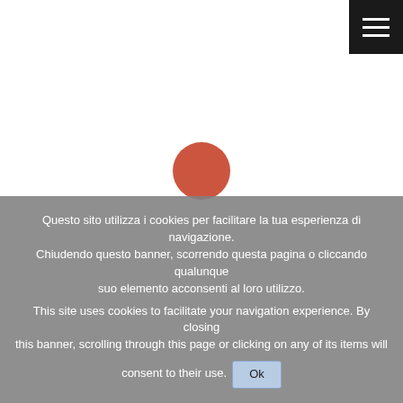[Figure (screenshot): Black hamburger menu button (three horizontal white lines) in the top-right corner of the page]
[Figure (other): White page area with a reddish-orange loading spinner circle centered in the lower portion of the white area]
Questo sito utilizza i cookies per facilitare la tua esperienza di navigazione. Chiudendo questo banner, scorrendo questa pagina o cliccando qualunque suo elemento acconsenti al loro utilizzo.
This site uses cookies to facilitate your navigation experience. By closing this banner, scrolling through this page or clicking on any of its items will consent to their use. Ok